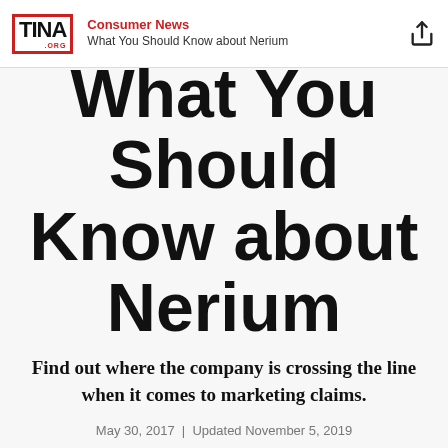Consumer News | What You Should Know about Nerium
What You Should Know about Nerium
Find out where the company is crossing the line when it comes to marketing claims.
May 30, 2017  |  Updated November 5, 2019